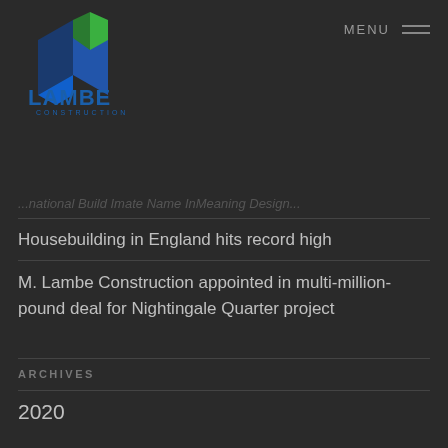[Figure (logo): M. Lambe Construction logo — geometric M shape in blue and green gradients with 'LAMBE CONSTRUCTION' text below in blue]
MENU
...national Build Imate Name InMeaning Design...
Housebuilding in England hits record high
M. Lambe Construction appointed in multi-million-pound deal for Nightingale Quarter project
ARCHIVES
2020